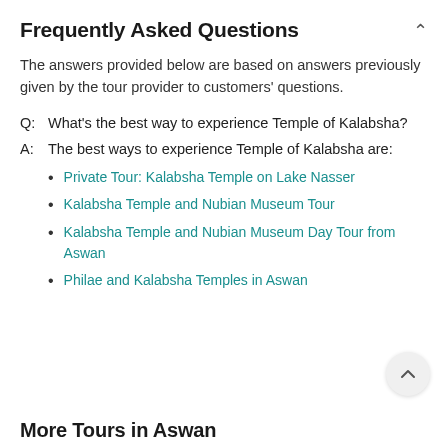Frequently Asked Questions
The answers provided below are based on answers previously given by the tour provider to customers' questions.
Q:  What's the best way to experience Temple of Kalabsha?
A:  The best ways to experience Temple of Kalabsha are:
Private Tour: Kalabsha Temple on Lake Nasser
Kalabsha Temple and Nubian Museum Tour
Kalabsha Temple and Nubian Museum Day Tour from Aswan
Philae and Kalabsha Temples in Aswan
More Tours in Aswan